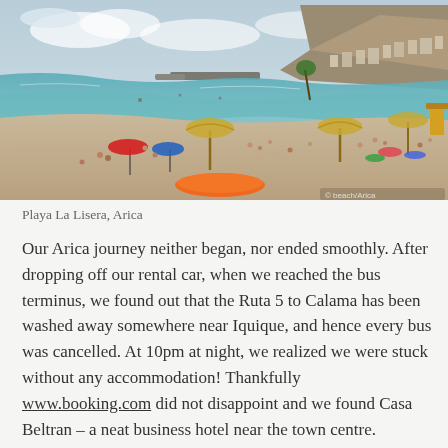[Figure (photo): Aerial/elevated view of Playa La Lisera beach in Arica, Chile. Sandy beach with many visitors, colorful umbrellas, thatched beach umbrellas, an orange inflatable mattress in the foreground, calm turquoise water, rocky breakwater, and a hillside with buildings in the background under a partly cloudy sky.]
Playa La Lisera, Arica
Our Arica journey neither began, nor ended smoothly. After dropping off our rental car, when we reached the bus terminus, we found out that the Ruta 5 to Calama has been washed away somewhere near Iquique, and hence every bus was cancelled. At 10pm at night, we realized we were stuck without any accommodation! Thankfully www.booking.com did not disappoint and we found Casa Beltran – a neat business hotel near the town centre.